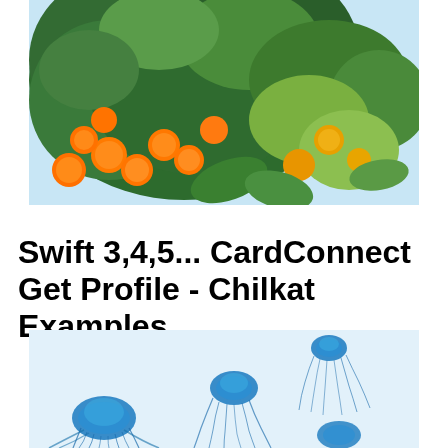[Figure (photo): Photo of an orange tree with ripe oranges and green leaves against a light blue sky background]
Swift 3,4,5... CardConnect Get Profile - Chilkat Examples
[Figure (photo): Photo of blue jellyfish floating against a light blue/white background]